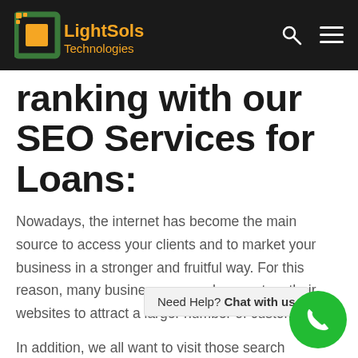LightSols Technologies
ranking with our SEO Services for Loans:
Nowadays, the internet has become the main source to access your clients and to market your business in a stronger and fruitful way. For this reason, many business owners have set up their websites to attract a larger number of customers.
In addition, we all want to visit those search
Need Help? Chat with us